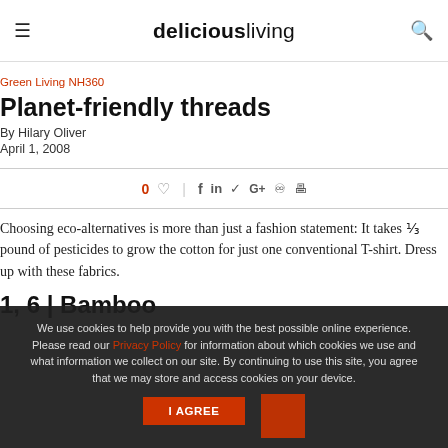deliciousliving
Green Living NH360
Planet-friendly threads
By Hilary Oliver
April 1, 2008
0 ♡  |  f  in  🐦  G+  🅿  🖨
Choosing eco-alternatives is more than just a fashion statement: It takes ⅓ pound of pesticides to grow the cotton for just one conventional T-shirt. Dress up with these fabrics.
1, 6 | Bamboo
We use cookies to help provide you with the best possible online experience. Please read our Privacy Policy for information about which cookies we use and what information we collect on our site. By continuing to use this site, you agree that we may store and access cookies on your device.